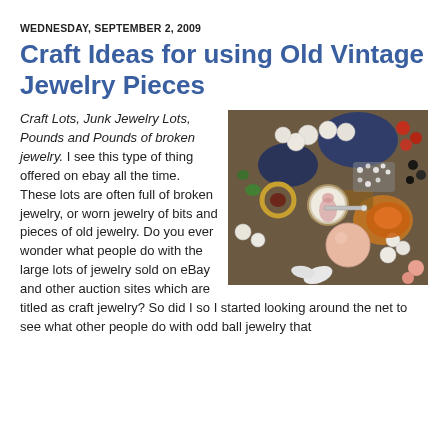WEDNESDAY, SEPTEMBER 2, 2009
Craft Ideas for using Old Vintage Jewelry Pieces
[Figure (photo): A large pile of assorted vintage jewelry pieces including pearls, rhinestones, beads, brooches, and colorful gems in various colors.]
Craft Lots, Junk Jewelry Lots, Pounds and Pounds of broken jewelry. I see this type of thing offered on ebay all the time. These lots are often full of broken jewelry, or worn jewelry of bits and pieces of old jewelry. Do you ever wonder what people do with the large lots of jewelry sold on eBay and other auction sites which are titled as craft jewelry? So did I so I started looking around the net to see what other people do with odd ball jewelry that